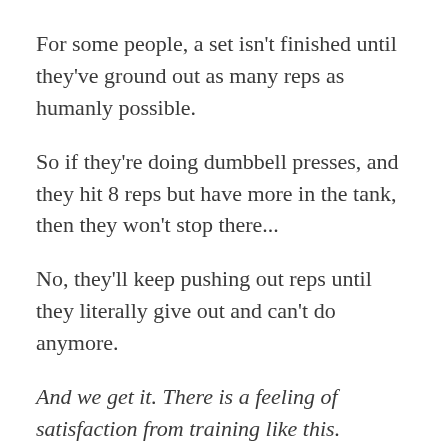For some people, a set isn't finished until they've ground out as many reps as humanly possible.
So if they're doing dumbbell presses, and they hit 8 reps but have more in the tank, then they won't stop there...
No, they'll keep pushing out reps until they literally give out and can't do anymore.
And we get it. There is a feeling of satisfaction from training like this.
You get that addictive muscle pump, and feel that you gave it your all.
But in reality, you aren't doing yourself any favors